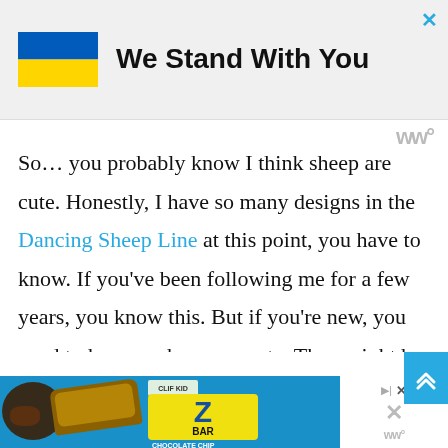[Figure (infographic): Ad banner showing Ukraine flag (blue and yellow horizontal stripes) with bold text 'We Stand With You' and a close button (X) in top right corner]
So… you probably know I think sheep are cute. Honestly, I have so many designs in the Dancing Sheep Line at this point, you have to know. If you've been following me for a few years, you know this. But if you're new, you need to know – sheep are cute. They might be stinky in real life, because they are, but in a design they're just adorbs, which is how I cam to this week's new pattern – the Dancing
[Figure (infographic): Bottom advertisement banner for CLIF Kid ZBAR Chocolate Chip bar, showing chocolate pieces and granola bar image on blue background with Z BAR logo, with close and ad label controls on right side]